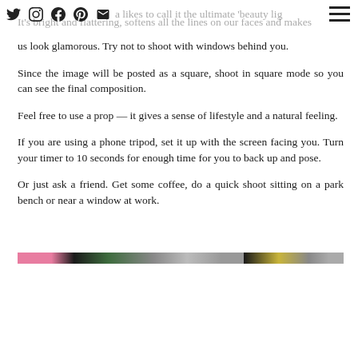social icons and navigation header
a likes to call it the ultimate 'beauty lig... It's bright and flattering, softens all the lines on our faces and makes us look glamorous. Try not to shoot with windows behind you.
Since the image will be posted as a square, shoot in square mode so you can see the final composition.
Feel free to use a prop — it gives a sense of lifestyle and a natural feeling.
If you are using a phone tripod, set it up with the screen facing you. Turn your timer to 10 seconds for enough time for you to back up and pose.
Or just ask a friend. Get some coffee, do a quick shoot sitting on a park bench or near a window at work.
[Figure (photo): Two horizontal color strips/image thumbnails at the bottom of the page]